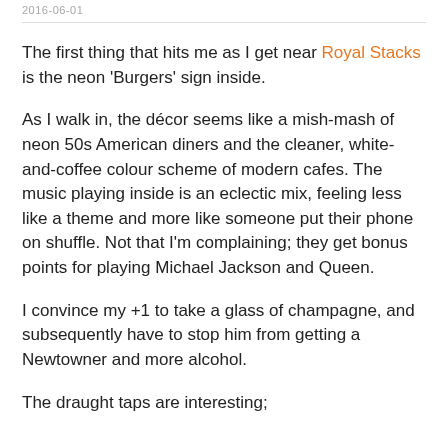2016-06-01
The first thing that hits me as I get near Royal Stacks is the neon ‘Burgers’ sign inside.
As I walk in, the décor seems like a mish-mash of neon 50s American diners and the cleaner, white-and-coffee colour scheme of modern cafes. The music playing inside is an eclectic mix, feeling less like a theme and more like someone put their phone on shuffle. Not that I’m complaining; they get bonus points for playing Michael Jackson and Queen.
I convince my +1 to take a glass of champagne, and subsequently have to stop him from getting a Newtowner and more alcohol.
The draught taps are interesting;